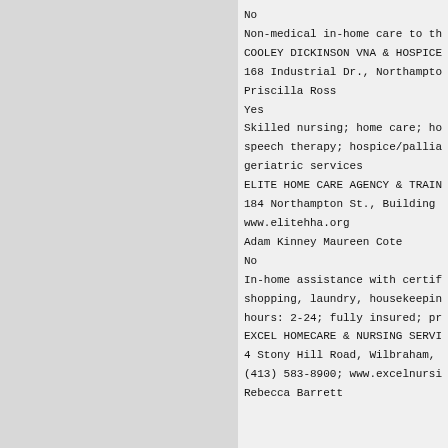No
Non-medical in-home care to the elderly and
COOLEY DICKINSON VNA & HOSPICE
168 Industrial Dr., Northampton, MA 01060 (4
Priscilla Ross
Yes
Skilled nursing; home care; home health aide
speech therapy; hospice/palliative care; Co
geriatric services
ELITE HOME CARE AGENCY & TRAINING ENTERPRIS
184 Northampton St., Building 3, Suite 1, Ea
www.elitehha.org
Adam Kinney Maureen Cote
No
In-home assistance with certified nursing ai
shopping, laundry, housekeeping, meals, tra
hours: 2-24; fully insured; private-pay and
EXCEL HOMECARE & NURSING SERVICES
4 Stony Hill Road, Wilbraham, MA 01095
(413) 583-8900; www.excelnursingservices.co
Rebecca Barrett